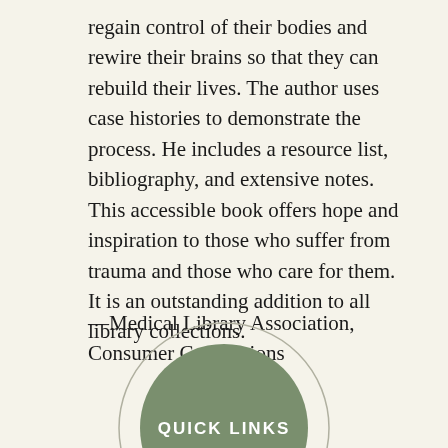regain control of their bodies and rewire their brains so that they can rebuild their lives. The author uses case histories to demonstrate the process. He includes a resource list, bibliography, and extensive notes. This accessible book offers hope and inspiration to those who suffer from trauma and those who care for them. It is an outstanding addition to all library collections.
—Medical Library Association, Consumer Connections
[Figure (infographic): A circular button graphic with an outer thin ring and an inner solid olive/sage green circle containing the text 'QUICK LINKS' in white capital letters.]